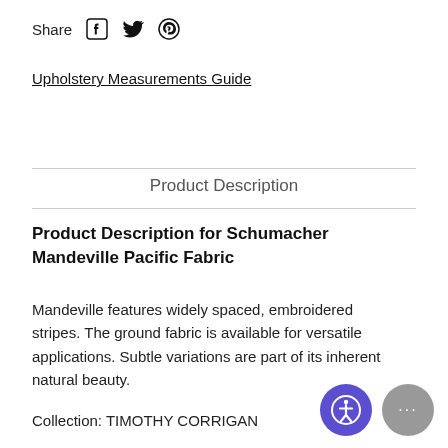Share [Facebook icon] [Twitter icon] [Pinterest icon]
Upholstery Measurements Guide
Product Description
Product Description for Schumacher Mandeville Pacific Fabric
Mandeville features widely spaced, embroidered stripes. The ground fabric is available for versatile applications. Subtle variations are part of its inherent natural beauty.
Collection: TIMOTHY CORRIGAN